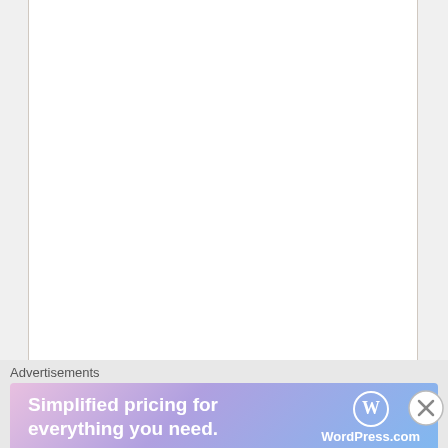the nation. If this war is not a war between Nuer and Dinka,why do the the maascre in Juba carried out by the government forces directed to Nuer civilians? And also those who carried the maascre where trained from Bhar elgazal which is incumbent home town so-called Duku beny. You people, it is better to tell the truth than lie!
★ Like
Reply
Advertisements
[Figure (other): WordPress.com advertisement banner with gradient background (pink to blue), text 'Simplified pricing for everything you need.' and WordPress.com logo]